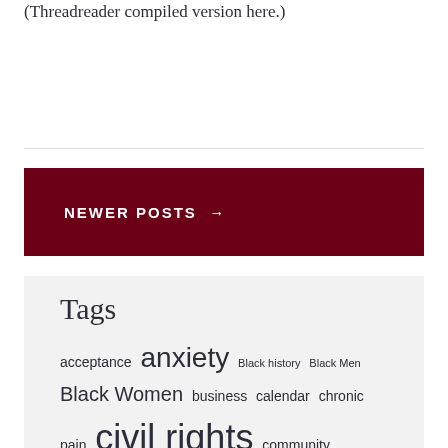(Threadreader compiled version here.)
NEWER POSTS →
Tags
acceptance anxiety Black history Black Men Black Women business calendar chronic pain civil rights community conditioning context crises crisis culture current events depression discrimination dissociation emotions events